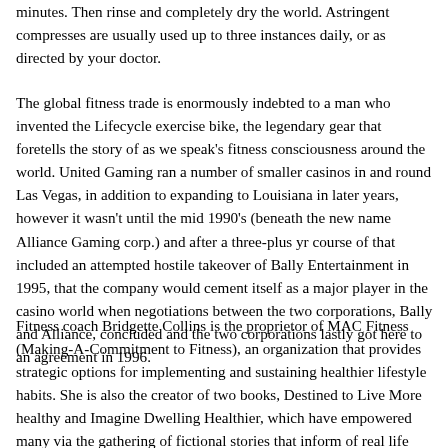minutes. Then rinse and completely dry the world. Astringent compresses are usually used up to three instances daily, or as directed by your doctor.
The global fitness trade is enormously indebted to a man who invented the Lifecycle exercise bike, the legendary gear that foretells the story of as we speak's fitness consciousness around the world. United Gaming ran a number of smaller casinos in and round Las Vegas, in addition to expanding to Louisiana in later years, however it wasn't until the mid 1990's (beneath the new name Alliance Gaming corp.) and after a three-plus yr course of that included an attempted hostile takeover of Bally Entertainment in 1995, that the company would cement itself as a major player in the casino world when negotiations between the two corporations, Bally and Alliance, concluded and the two corporations lastly got here to an agreement in 1996.
Fitness coach Bridgette Collins is the proprietor of MAC Fitness (Making-A-Commitment to Fitness), an organization that provides strategic options for implementing and sustaining healthier lifestyle habits. She is also the creator of two books, Destined to Live More healthy and Imagine Dwelling Healthier, which have empowered many via the gathering of fictional stories that inform of real life challenges with weight, well being,